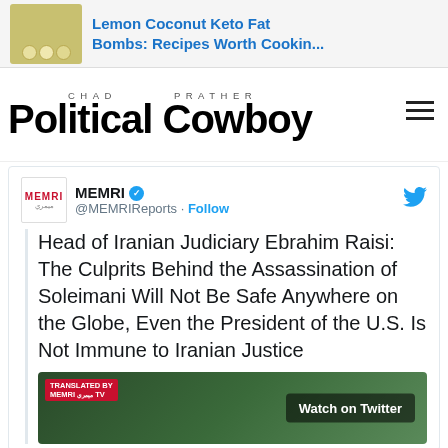[Figure (screenshot): Ad banner showing food image (lemon coconut keto fat bombs)]
Lemon Coconut Keto Fat Bombs: Recipes Worth Cookin...
[Figure (logo): Chad Prather Political Cowboy website logo with photo of man in cowboy hat]
[Figure (screenshot): Embedded tweet from MEMRI @MEMRIReports with verified badge and Follow button]
Head of Iranian Judiciary Ebrahim Raisi: The Culprits Behind the Assassination of Soleimani Will Not Be Safe Anywhere on the Globe, Even the President of the U.S. Is Not Immune to Iranian Justice
[Figure (screenshot): MEMRI TV video thumbnail with Watch on Twitter badge]